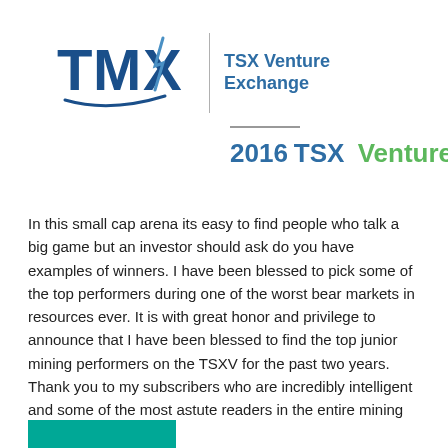[Figure (logo): TMX | TSX Venture Exchange logo with 2016 TSX Venture 50 trademark text]
In this small cap arena its easy to find people who talk a big game but an investor should ask do you have examples of winners. I have been blessed to pick some of the top performers during one of the worst bear markets in resources ever. It is with great honor and privilege to announce that I have been blessed to find the top junior mining performers on the TSXV for the past two years. Thank you to my subscribers who are incredibly intelligent and some of the most astute readers in the entire mining sector.